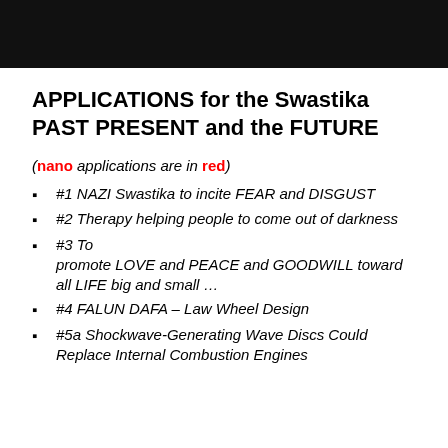[Figure (photo): Dark photographic image at the top of the page]
APPLICATIONS for the Swastika PAST PRESENT and the FUTURE
(nano applications are in red)
#1 NAZI Swastika to incite FEAR and DISGUST
#2 Therapy helping people to come out of darkness
#3 To promote LOVE and PEACE and GOODWILL toward all LIFE big and small ...
#4 FALUN DAFA – Law Wheel Design
#5a Shockwave-Generating Wave Discs Could Replace Internal Combustion Engines